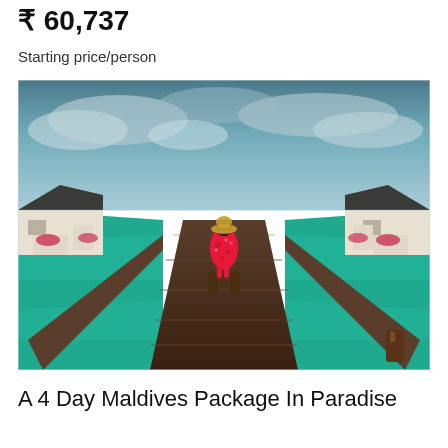₹ 60,737
Starting price/person
[Figure (photo): A person in a red floral dress and hat standing on a wooden dock/boardwalk at a Maldives overwater bungalow resort. The boardwalk splits into two directions, surrounded by turquoise water. Overwater bungalows line both sides under a cloudy blue sky.]
A 4 Day Maldives Package In Paradise